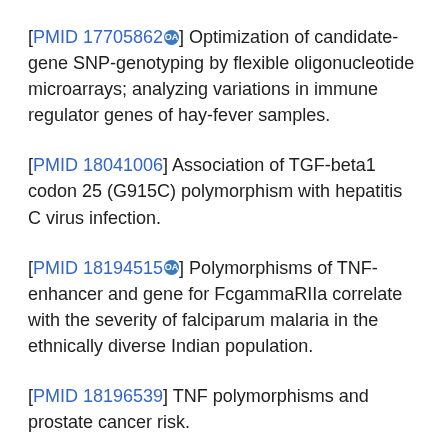[PMID 17705862] Optimization of candidate-gene SNP-genotyping by flexible oligonucleotide microarrays; analyzing variations in immune regulator genes of hay-fever samples.
[PMID 18041006] Association of TGF-beta1 codon 25 (G915C) polymorphism with hepatitis C virus infection.
[PMID 18194515] Polymorphisms of TNF-enhancer and gene for FcgammaRIIa correlate with the severity of falciparum malaria in the ethnically diverse Indian population.
[PMID 18196539] TNF polymorphisms and prostate cancer risk.